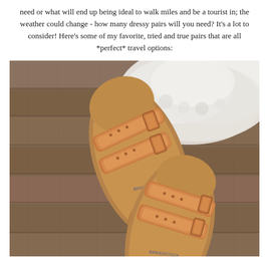need or what will end up being ideal to walk miles and be a tourist in; the weather could change - how many dressy pairs will you need? It's a lot to consider! Here's some of my favorite, tried and true pairs that are all *perfect* travel options:
[Figure (photo): Two rose gold / copper metallic Birkenstock Arizona sandals laid flat on a wooden floor with a white fluffy rug in the background, photographed from above.]